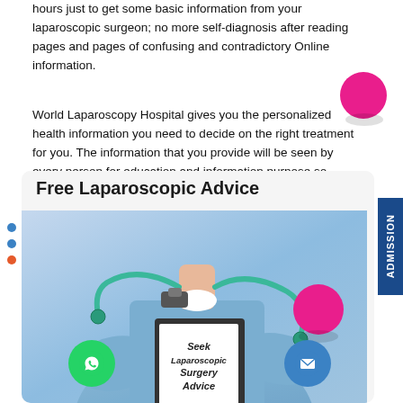hours just to get some basic information from your laparoscopic surgeon; no more self-diagnosis after reading pages and pages of confusing and contradictory Online information.
World Laparoscopy Hospital gives you the personalized health information you need to decide on the right treatment for you. The information that you provide will be seen by every person for education and information purpose so please not write your real name.
Free Laparoscopic Advice
[Figure (photo): Doctor in blue scrubs with stethoscope holding a clipboard that reads 'Seek Laparoscopic Surgery Advice'. Green WhatsApp button bottom left, blue email button bottom right. Pink decorative circles. ADMISSION tab on right side.]